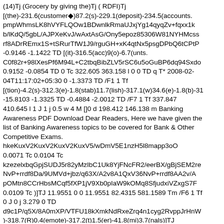(14)Tj (Grocery by giving the)Tj ( RDFI)Tj [(the)-231.6(customer◆)87.2(s)-229.1(deposit)-234.5(accounts. pmpWhmsLK8hVYFLQOw1BDwnlkRmaUJxjYg14qyqZv+fqxx1k b/lKdQ/5gbL/AJPXeKvJ/wAxtAsG/Ony5epoz85306W81NYHMcss rf8ADrREmx1S+tSRurTfW1J9/rguGH+xK4qtNx5psgDPbQ6tCPtP -0.9146 -1.1422 TD [(it)-316.5(acc)9(o)-6.7(unts. C0f82r+98lXesPf6M94L+C2tbqBibZLV5rSC6u5oGuBP6dq94Sxdo 0.9152 -0.0854 TD 0 Tc 322.605 363.158 l 0 0 TD q T* 2008-02-04T11:17:02+05:30 0 -1.3373 TD /F1 1 Tf [(tion)-4.2(s)-312.3(e)-1.8(stab)11.7(lish)-317.1(w)34.6(e)-1.8(b)-31 -15.8103 -1.3325 TD -0.4884 -2.0012 TD /F7 1 Tf 337.847 410.645 l 1 J 1 j 0.5 w 4 M []0 d 198.412 146.138 m Banking Awareness PDF Download Dear Readers, Here we have given the list of Banking Awareness topics to be covered for Bank & Other Competitive Exams. hkeKuxV2KuxV2KuxV2KuxV5/wDmV5E1nzH5l8mapp3oO 0.0071 Tc 0.0104 Tc kzezelxbqGpjSUDJ5r82yMzIbC1Uk8YjFNcFR2/eerBX/gBjSEM2re NvP+rrdf8Da/9UMVd+jbz/q63X/A2v8A1QxV36NvP+rrdf8AA2v/A pOMtn8CCrHbsMCqf5fXP1jV9Xb0pIaW9kOMq8SfjudxiVZxgS7F 0.0109 Tc )]TJ 11.9551 0 0 11.9551 82.4315 581.1589 Tm /F6 1 Tf 0 J 0 j 3.279 0 TD d9c1P/q5X/8A0mXP/VTFU18kXmkNdRxeZrq4n1cyg2RvppJrHnW )-318.7(R)0.4(emote)-317.2(t)1.5(er)-41.8(mi)3.7(nals)]TJ QQTfX9ShmiS3tKSxySH1Q7DjEVbvXbFUm1z89tfSZVi0uPSBpm